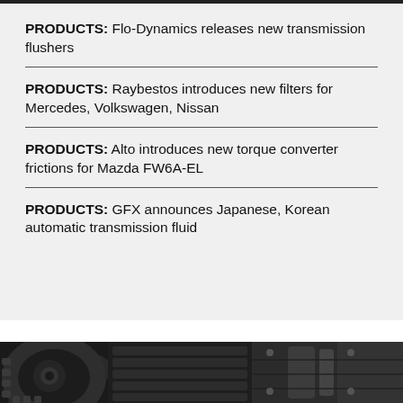PRODUCTS: Flo-Dynamics releases new transmission flushers
PRODUCTS: Raybestos introduces new filters for Mercedes, Volkswagen, Nissan
PRODUCTS: Alto introduces new torque converter frictions for Mazda FW6A-EL
PRODUCTS: GFX announces Japanese, Korean automatic transmission fluid
[Figure (photo): Black and white close-up photo of automotive transmission gears and components]